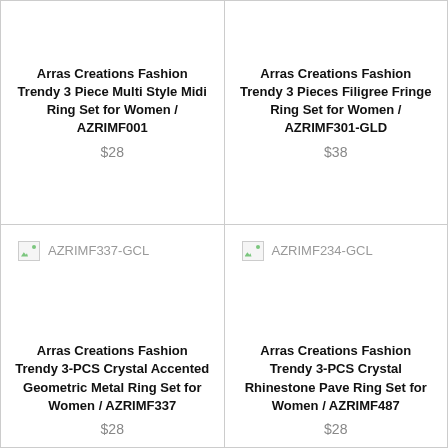Arras Creations Fashion Trendy 3 Piece Multi Style Midi Ring Set for Women / AZRIMF001
$28
Arras Creations Fashion Trendy 3 Pieces Filigree Fringe Ring Set for Women / AZRIMF301-GLD
$38
[Figure (photo): Broken image placeholder labeled AZRIMF337-GCL]
Arras Creations Fashion Trendy 3-PCS Crystal Accented Geometric Metal Ring Set for Women / AZRIMF337
$28
[Figure (photo): Broken image placeholder labeled AZRIMF234-GCL]
Arras Creations Fashion Trendy 3-PCS Crystal Rhinestone Pave Ring Set for Women / AZRIMF487
$28